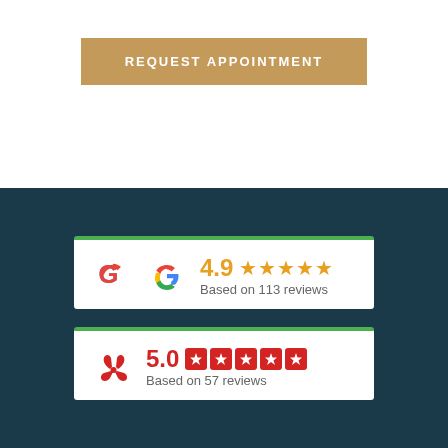REQUEST APPOINTMENT
[Figure (infographic): Google review badge showing 4.9 stars based on 113 reviews]
[Figure (infographic): Yelp review badge showing 5.0 stars based on 57 reviews]